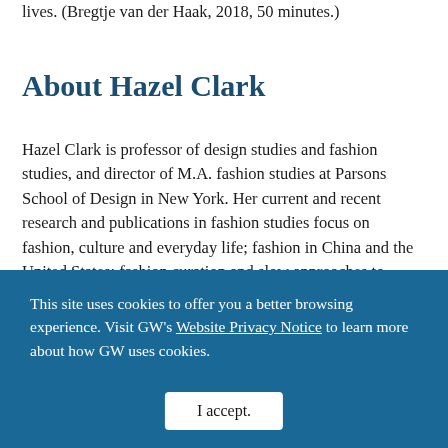lives. (Bregtje van der Haak, 2018, 50 minutes.)
About Hazel Clark
Hazel Clark is professor of design studies and fashion studies, and director of M.A. fashion studies at Parsons School of Design in New York. Her current and recent research and publications in fashion studies focus on fashion, culture and everyday life; fashion in China and the United States; fashion curation and slow approaches to
This site uses cookies to offer you a better browsing experience. Visit GW's Website Privacy Notice to learn more about how GW uses cookies.
I accept.